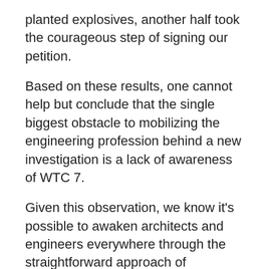planted explosives, another half took the courageous step of signing our petition.
Based on these results, one cannot help but conclude that the single biggest obstacle to mobilizing the engineering profession behind a new investigation is a lack of awareness of WTC 7.
Given this observation, we know it's possible to awaken architects and engineers everywhere through the straightforward approach of informing them of WTC 7. But there's much work to be done to reach them all. We need your help! Please email the AE911Truth.org link to every architect and engineer in your area and beyond. Snail-mail or drop off the Beyond Misinformation booklet to building professionals in your area. We're grateful for...